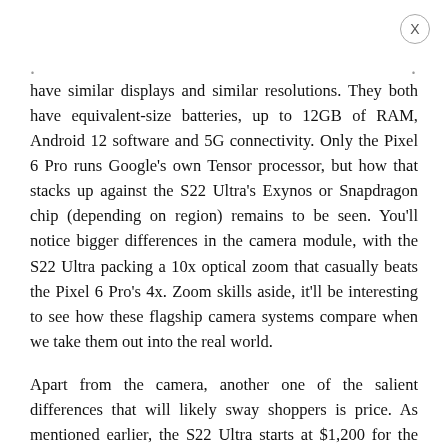have similar displays and similar resolutions. They both have equivalent-size batteries, up to 12GB of RAM, Android 12 software and 5G connectivity. Only the Pixel 6 Pro runs Google's own Tensor processor, but how that stacks up against the S22 Ultra's Exynos or Snapdragon chip (depending on region) remains to be seen. You'll notice bigger differences in the camera module, with the S22 Ultra packing a 10x optical zoom that casually beats the Pixel 6 Pro's 4x. Zoom skills aside, it'll be interesting to see how these flagship camera systems compare when we take them out into the real world.
Apart from the camera, another one of the salient differences that will likely sway shoppers is price. As mentioned earlier, the S22 Ultra starts at $1,200 for the version with 8GB RAM and 128GB storage. That's